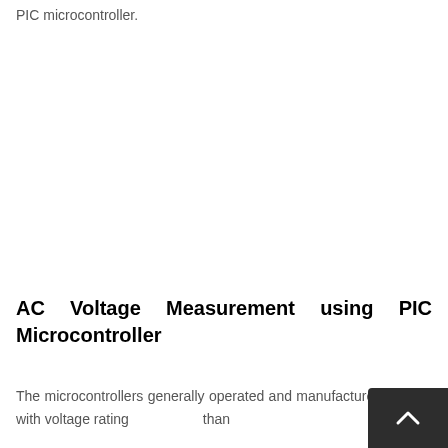PIC microcontroller.
AC Voltage Measurement using PIC Microcontroller
The microcontrollers generally operated and manufactured to work with voltage rating than